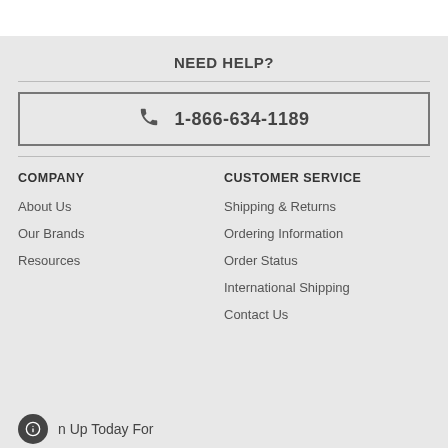NEED HELP?
1-866-634-1189
COMPANY
CUSTOMER SERVICE
About Us
Our Brands
Resources
Shipping & Returns
Ordering Information
Order Status
International Shipping
Contact Us
n Up Today For